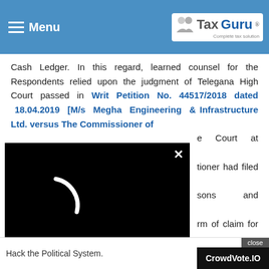TaxGuru - Complete tax solution
Cash Ledger. In this regard, learned counsel for the Respondents relied upon the judgment of Telegana High Court passed in Writ Petition No. 44517/2018 dated 18.04.2019 [M/s Megha Engineering & Infrastructure Ltd. versus The Commissioner of ... Court at para-39 has ... tioner had filed returns ... sons and payment of tax ... rm of claim for ITC made ... riod, the liability to pay interest under Section 50(1) arose automatically. Therefore, petitioner cannot escape the liability. It is contended that interest under Section 50(1) is not bei... as con... is
[Figure (screenshot): Black video player overlay with white loading spinner arc and close X button]
Hack the Political System. CrowdVote.IO close